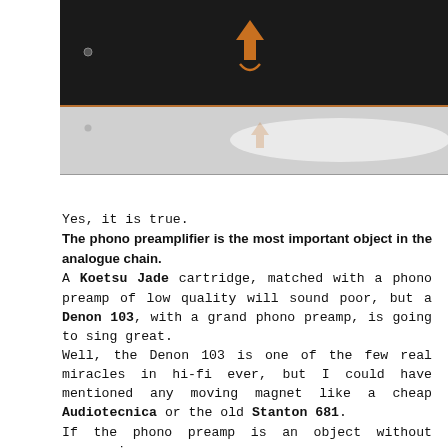[Figure (photo): Close-up photo of a high-end audio preamplifier device, dark/black finish with an orange brand logo on top, showing the chassis from an angle with a reflective surface below.]
Yes, it is true.
The phono preamplifier is the most important object in the analogue chain.
A Koetsu Jade cartridge, matched with a phono preamp of low quality will sound poor, but a Denon 103, with a grand phono preamp, is going to sing great.
Well, the Denon 103 is one of the few real miracles in hi-fi ever, but I could have mentioned any moving magnet like a cheap Audiotecnica or the old Stanton 681.
If the phono preamp is an object without compromises...